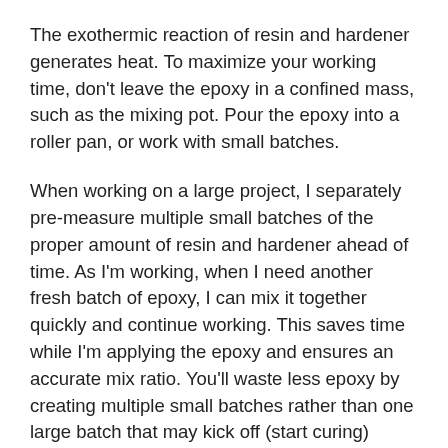The exothermic reaction of resin and hardener generates heat. To maximize your working time, don't leave the epoxy in a confined mass, such as the mixing pot. Pour the epoxy into a roller pan, or work with small batches.
When working on a large project, I separately pre-measure multiple small batches of the proper amount of resin and hardener ahead of time. As I'm working, when I need another fresh batch of epoxy, I can mix it together quickly and continue working. This saves time while I'm applying the epoxy and ensures an accurate mix ratio. You'll waste less epoxy by creating multiple small batches rather than one large batch that may kick off (start curing) before you're finished using it. No one likes to see a pot of unused epoxy smoking in its container.
Temperature affects cure speed. You can accelerate epoxy cure by increasing the temperature. The 18-degree rule is that